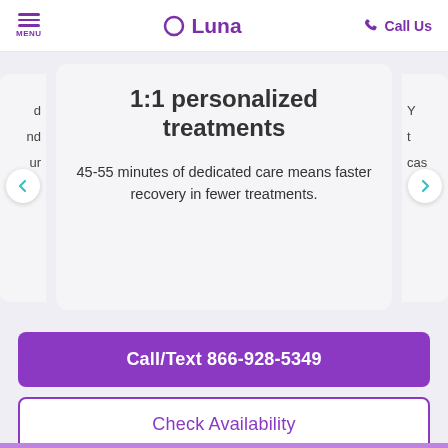MENU | Luna | Call Us
1:1 personalized treatments
45-55 minutes of dedicated care means faster recovery in fewer treatments.
Call/Text 866-928-5349
Check Availability